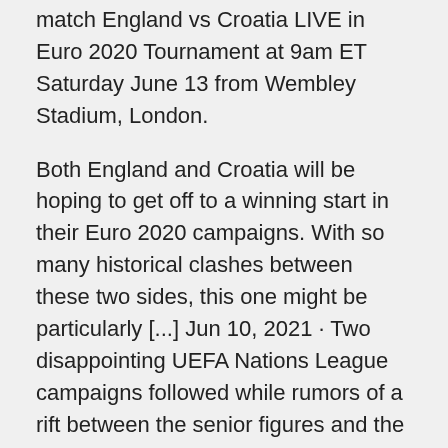match England vs Croatia LIVE in Euro 2020 Tournament at 9am ET Saturday June 13 from Wembley Stadium, London.
Both England and Croatia will be hoping to get off to a winning start in their Euro 2020 campaigns. With so many historical clashes between these two sides, this one might be particularly [...] Jun 10, 2021 · Two disappointing UEFA Nations League campaigns followed while rumors of a rift between the senior figures and the younger players have emerged. Euro 2020 would be a great opportunity to impress fans of the beautiful game once more; it's up to Modric and Co. to seize it. Czech Republic: Naši might be the true underdogs of this tournament Jun 13, 2021 · Scotland vs. Czech Republic Euro 2020 preview.